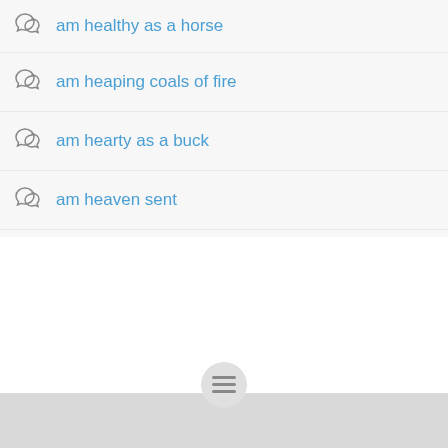am healthy as a horse
am heaping coals of fire
am hearty as a buck
am heaven sent